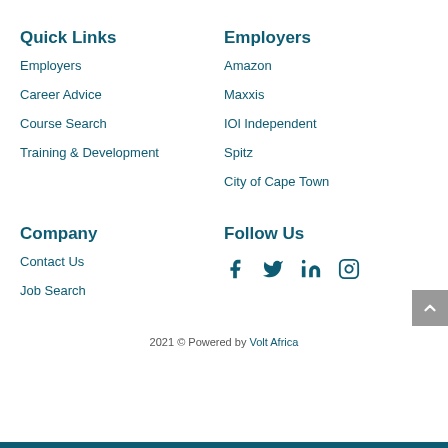Quick Links
Employers
Career Advice
Course Search
Training & Development
Employers
Amazon
Maxxis
IOl Independent
Spitz
City of Cape Town
Company
Contact Us
Job Search
Follow Us
[Figure (infographic): Social media icons: Facebook, Twitter, LinkedIn, Instagram]
2021 © Powered by Volt Africa